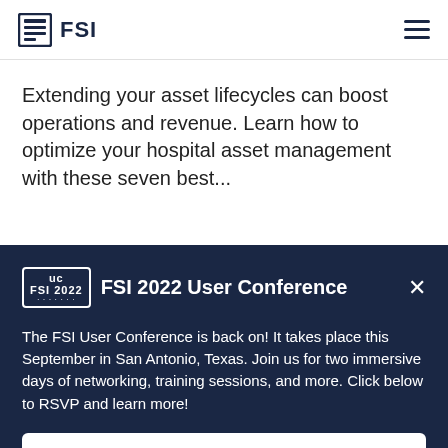FSI
Extending your asset lifecycles can boost operations and revenue. Learn how to optimize your hospital asset management with these seven best...
FSI 2022 User Conference
The FSI User Conference is back on! It takes place this September in San Antonio, Texas. Join us for two immersive days of networking, training sessions, and more. Click below to RSVP and learn more!
Save Your Spot Now!